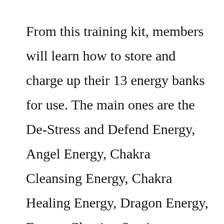From this training kit, members will learn how to store and charge up their 13 energy banks for use. The main ones are the De-Stress and Defend Energy, Angel Energy, Chakra Cleansing Energy, Chakra Healing Energy, Dragon Energy, Energy Clearing Sessions, Western Astrology Zodiac Energy and the Power of Manifestation Energy banks.
By following Praktical Magick Kit, members